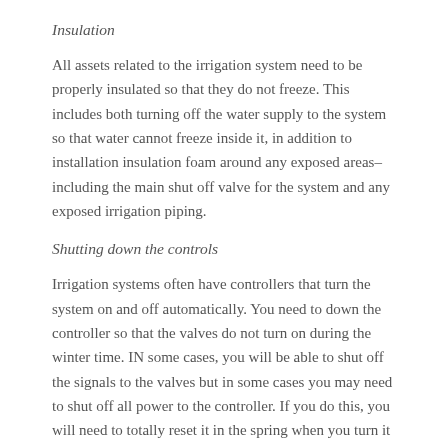Insulation
All assets related to the irrigation system need to be properly insulated so that they do not freeze. This includes both turning off the water supply to the system so that water cannot freeze inside it, in addition to installation insulation foam around any exposed areas–including the main shut off valve for the system and any exposed irrigation piping.
Shutting down the controls
Irrigation systems often have controllers that turn the system on and off automatically. You need to down the controller so that the valves do not turn on during the winter time. IN some cases, you will be able to shut off the signals to the valves but in some cases you may need to shut off all power to the controller. If you do this, you will need to totally reset it in the spring when you turn it back on again.